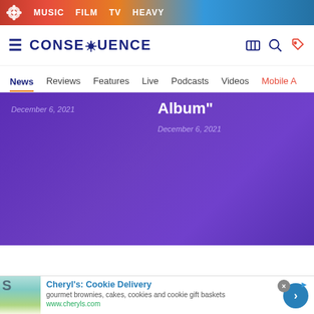MUSIC  FILM  TV  HEAVY
[Figure (logo): Consequence of Sound logo with hamburger menu and nav icons]
News  Reviews  Features  Live  Podcasts  Videos  Mobile A
December 6, 2021
Album"
December 6, 2021
[Figure (infographic): Advertisement for Cheryl's Cookie Delivery with food image, text, and arrow button]